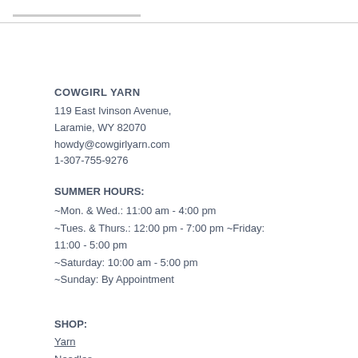COWGIRL YARN
119 East Ivinson Avenue,
Laramie, WY 82070
howdy@cowgirlyarn.com
1-307-755-9276
SUMMER HOURS:
~Mon. & Wed.: 11:00 am - 4:00 pm
~Tues. & Thurs.: 12:00 pm - 7:00 pm ~Friday: 11:00 - 5:00 pm
~Saturday: 10:00 am - 5:00 pm
~Sunday: By Appointment
SHOP:
Yarn
Needles